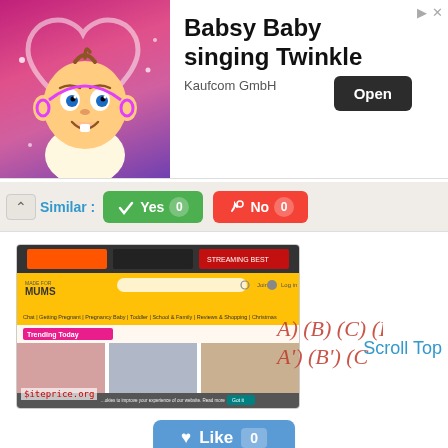[Figure (screenshot): Advertisement banner for 'Babsy Baby singing Twinkle' by Kaufcom GmbH, showing an animated baby character on pink background with an 'Open' button]
Similar : Yes 0 No 0
[Figure (screenshot): Screenshot of madeformums.com website showing navigation bar, trending today section with baby articles and photos]
Scroll Top
[Figure (other): Decorative letter circles A B C D A B style illustration in red]
Like 0
madeformums.com